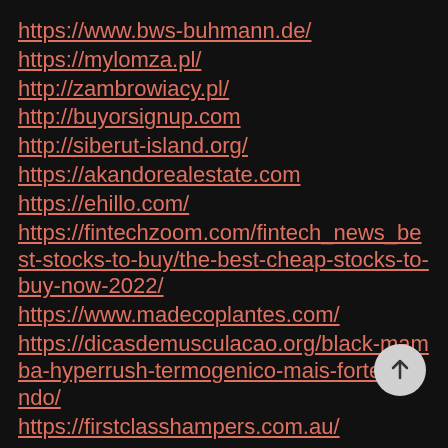https://www.bws-buhmann.de/
https://mylomza.pl/
http://zambrowiacy.pl/
http://buyorsignup.com
http://siberut-island.org/
https://akandorealestate.com
https://ehillo.com/
https://fintechzoom.com/fintech_news_best-stocks-to-buy/the-best-cheap-stocks-to-buy-now-2022/
https://www.madecoplantes.com/
https://dicasdemusculacao.org/black-mamba-hyperrush-termogenico-mais-forte-mundo/
https://firstclasshampers.com.au/